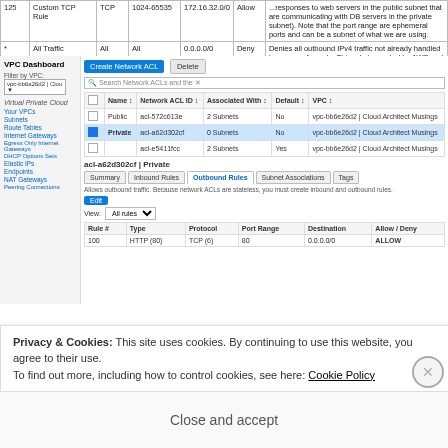|  | Type | Protocol | Port Range | Destination | Allow/Deny | Description |
| --- | --- | --- | --- | --- | --- | --- |
| 125 | Custom TCP Rule | TCP | 1024-65535 | 172.16.32.0/0 | Allow | ...responses to web servers in the public subnet that are communicating with DB servers in the private subnet). Note that the port range are ephemeral ports and can be a subnet of what we are using. |
| * | All Traffic | All | All | 0.0.0.0/0 | Deny | Denies all outbound IPv4 traffic not already handled by a preceding rule. This rule is created by AWS and cannot be deleted or modified. |
[Figure (screenshot): AWS VPC Dashboard showing Network ACL configuration with sidebar navigation and ACL list table showing Public, Private, and default ACLs. The Private ACL (acl-a62d302cf) is selected showing Outbound Rules tab with rule 100 for HTTP (80) TCP port 80 destination 0.0.0.0/0 ALLOW.]
Privacy & Cookies: This site uses cookies. By continuing to use this website, you agree to their use. To find out more, including how to control cookies, see here: Cookie Policy
Close and accept